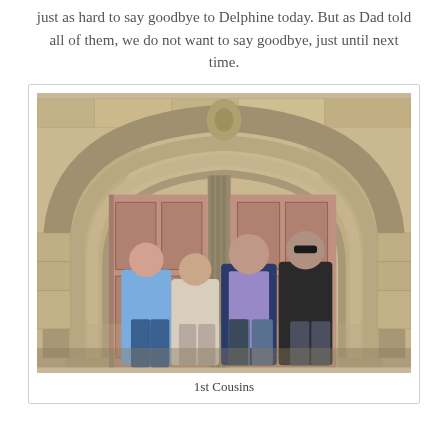just as hard to say goodbye to Delphine today. But as Dad told all of them, we do not want to say goodbye, just until next time.
[Figure (photo): Four people (1st cousins) standing in front of a large ornate stone church entrance with two large reddish-brown arched wooden doors and detailed Gothic stone archway carvings.]
1st Cousins